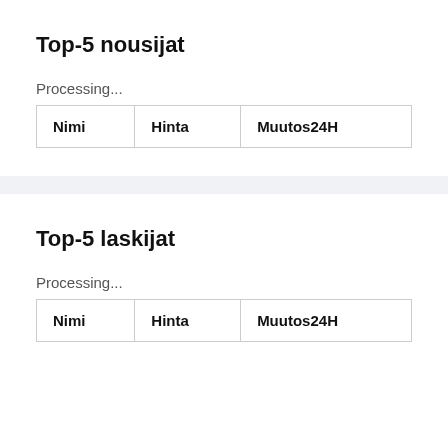Top-5 nousijat
Processing...
| Nimi | Hinta | Muutos24H |
| --- | --- | --- |
Top-5 laskijat
Processing...
| Nimi | Hinta | Muutos24H |
| --- | --- | --- |